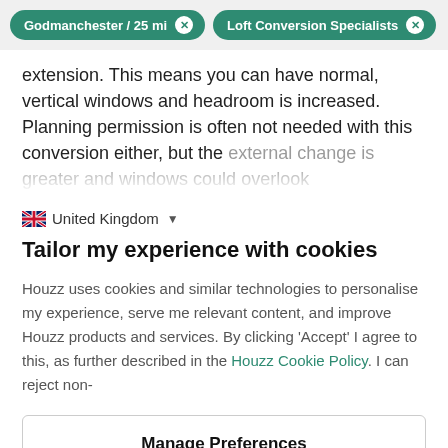Godmanchester / 25 mi  ×    Loft Conversion Specialists  ×
extension. This means you can have normal, vertical windows and headroom is increased. Planning permission is often not needed with this conversion either, but the external change is greater and windows could overlook
🇬🇧 United Kingdom ▼
Tailor my experience with cookies
Houzz uses cookies and similar technologies to personalise my experience, serve me relevant content, and improve Houzz products and services. By clicking 'Accept' I agree to this, as further described in the Houzz Cookie Policy. I can reject non-
Manage Preferences
Accept